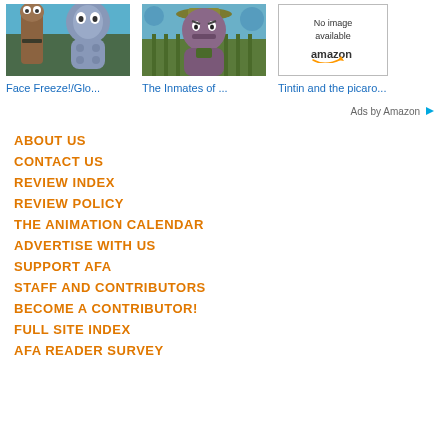[Figure (screenshot): Thumbnail image for Face Freeze!/Glo... showing two cartoon characters from SpongeBob]
[Figure (screenshot): Thumbnail image for The Inmates of ... showing a cartoon character in a hat]
[Figure (illustration): No image available placeholder for Tintin and the picaro...]
Face Freeze!/Glo...
The Inmates of ...
Tintin and the picaro...
Ads by Amazon
ABOUT US
CONTACT US
REVIEW INDEX
REVIEW POLICY
THE ANIMATION CALENDAR
ADVERTISE WITH US
SUPPORT AFA
STAFF AND CONTRIBUTORS
BECOME A CONTRIBUTOR!
FULL SITE INDEX
AFA READER SURVEY